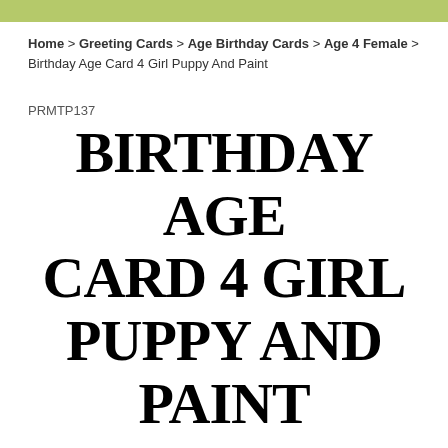Home > Greeting Cards > Age Birthday Cards > Age 4 Female > Birthday Age Card 4 Girl Puppy And Paint
PRMTP137
BIRTHDAY AGE CARD 4 GIRL PUPPY AND PAINT
larger image   Move mouse over the image to magnify
Product query